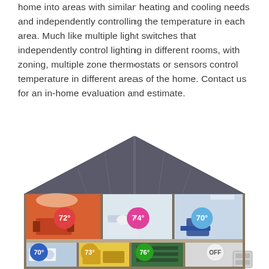home into areas with similar heating and cooling needs and independently controlling the temperature in each area. Much like multiple light switches that independently control lighting in different rooms, with zoning, multiple zone thermostats or sensors control temperature in different areas of the home. Contact us for an in-home evaluation and estimate.
[Figure (illustration): Cross-section illustration of a two-story house showing six zones each with a temperature badge: upper floor has orange room (72°), white/grey room (74°), blue room (70°); lower floor has blue room (70°), yellow room (73°), green room (76°), and a room labeled OFF.]